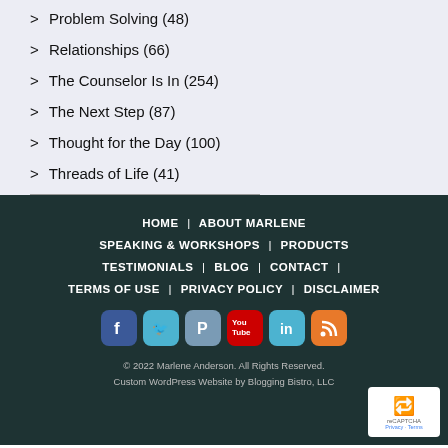> Problem Solving (48)
> Relationships (66)
> The Counselor Is In (254)
> The Next Step (87)
> Thought for the Day (100)
> Threads of Life (41)
HOME | ABOUT MARLENE | SPEAKING & WORKSHOPS | PRODUCTS | TESTIMONIALS | BLOG | CONTACT | TERMS OF USE | PRIVACY POLICY | DISCLAIMER
© 2022 Marlene Anderson. All Rights Reserved. Custom WordPress Website by Blogging Bistro, LLC